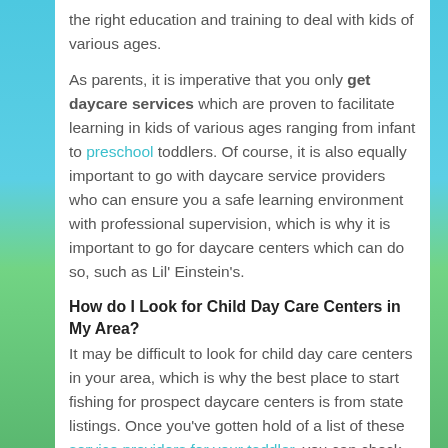the right education and training to deal with kids of various ages.
As parents, it is imperative that you only get daycare services which are proven to facilitate learning in kids of various ages ranging from infant to preschool toddlers. Of course, it is also equally important to go with daycare service providers who can ensure you a safe learning environment with professional supervision, which is why it is important to go for daycare centers which can do so, such as Lil' Einstein's.
How do I Look for Child Day Care Centers in My Area?
It may be difficult to look for child day care centers in your area, which is why the best place to start fishing for prospect daycare centers is from state listings. Once you've gotten hold of a list of these service providers for your toddler, you can check the reputation